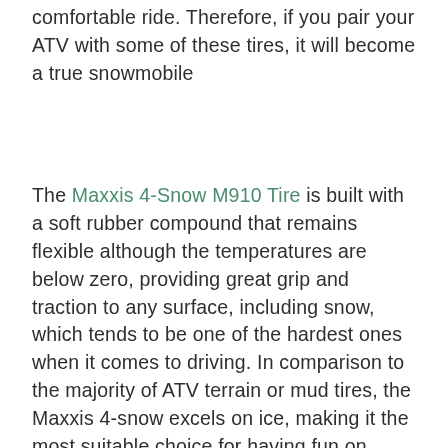comfortable ride. Therefore, if you pair your ATV with some of these tires, it will become a true snowmobile
The Maxxis 4-Snow M910 Tire is built with a soft rubber compound that remains flexible although the temperatures are below zero, providing great grip and traction to any surface, including snow, which tends to be one of the hardest ones when it comes to driving. In comparison to the majority of ATV terrain or mud tires, the Maxxis 4-snow excels on ice, making it the most suitable choice for having fun on frozen lakes. However, this tire is not useful on hard-packed ground and mud, its compound will wear more quickly in hot climates despite its robust construction, which is specifically